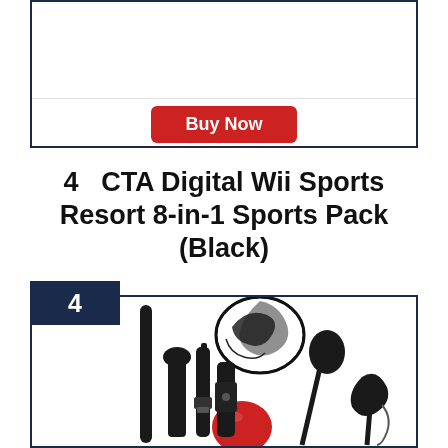[Figure (screenshot): Top product card with a 'Buy Now' red button, dark navy border, with a horizontal divider line separating blank upper area from button area.]
4   CTA Digital Wii Sports Resort 8-in-1 Sports Pack (Black)
[Figure (photo): Product image of CTA Digital Wii Sports Resort 8-in-1 Sports Pack (Black) showing various black sports accessories including a golf club, frisbee, paddle, and red ball on white background. Dark navy border card with number badge '4'.]